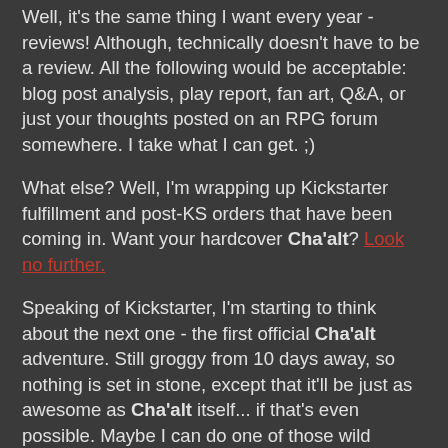Well, it's the same thing I want every year - reviews! Although, technically doesn't have to be a review. All the following would be acceptable: blog post analysis, play report, fan art, Q&A, or just your thoughts posted on an RPG forum somewhere. I take what I can get. ;)
What else? Well, I'm wrapping up Kickstarter fulfillment and post-KS orders that have been coming in. Want your hardcover Cha'alt? Look no further.
Speaking of Kickstarter, I'm starting to think about the next one - the first official Cha'alt adventure. Still groggy from 10 days away, so nothing is set in stone, except that it'll be just as awesome as Cha'alt itself... if that's even possible. Maybe I can do one of those wild "break Kickstarter" ideas?
What content do you want to see? I'm sure you have suggestions. Let me hear 'em!
VS
p.s. Yes, in all seriousness, please post a review or